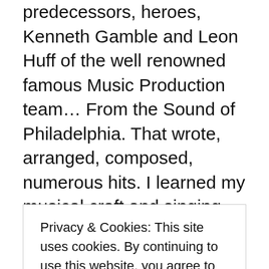predecessors, heroes, Kenneth Gamble and Leon Huff of the well renowned famous Music Production team… From the Sound of Philadelphia. That wrote, arranged, composed, numerous hits. I learned my musical craft and singing skills from the church choirs, how to harmonize and sing correctly with a choir of other singers in different ranges. Choirs that I sang professionally with are, West Angeles Church of God in Christ Mass Choir, Friendship Baptist Church Mass, Inspirational, and
Privacy & Cookies: This site uses cookies. By continuing to use this website, you agree to their use. To find out more, including how to control cookies, see here: Cookie Policy
Close and accept
compose and produce my 30+ Song Catalog and